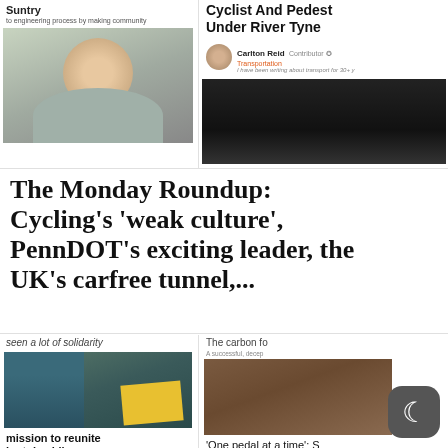Suntry
to engineering process by making community
Cyclist And Pedest Under River Tyne
Carlton Reid Contributor Transportation I have been writing about transport for 30+ years
[Figure (photo): Portrait photo of a woman with brown wavy hair]
[Figure (photo): Dark image of cyclist tunnel]
The Monday Roundup: Cycling's 'weak culture', PennDOT's exciting leader, the UK's carfree tunnel,...
seen a lot of solidarity
The carbon fo
A successful, decep
[Figure (photo): Photo of person with microphone and yellow sign]
[Figure (photo): Brown/reddish surface photo]
mission to reunite ir stolen bikes
'One pedal at a time': S bicycling across country